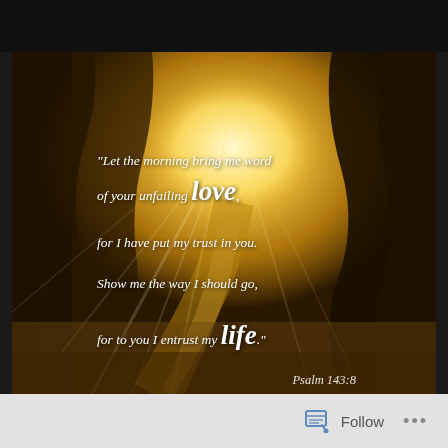[Figure (photo): A sunlit forest path with golden rays of light streaming through tall trees, creating a misty, glowing atmosphere. A dirt road stretches into the distance.]
"Let the morning bring me word of your unfailing love, for I have put my trust in you. Show me the way I should go, for to you I entrust my life."
Psalm 143:8
Follow ...